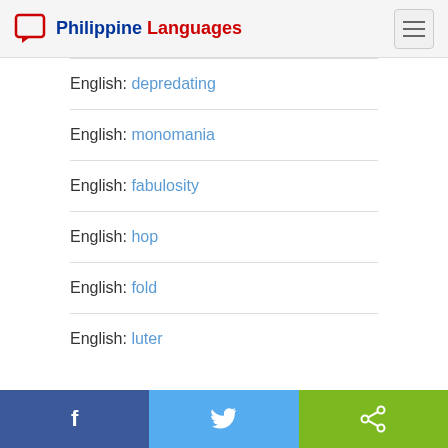Philippine Languages
English: depredating
English: monomania
English: fabulosity
English: hop
English: fold
English: luter
Facebook | Twitter | Share